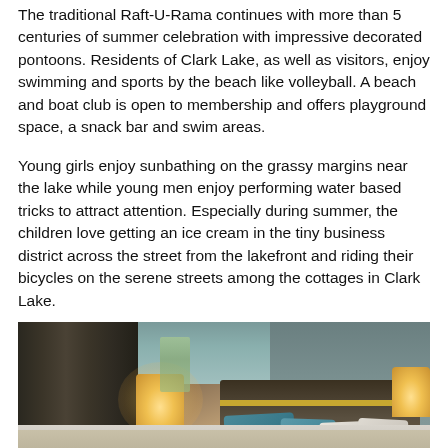The traditional Raft-U-Rama continues with more than 5 centuries of summer celebration with impressive decorated pontoons. Residents of Clark Lake, as well as visitors, enjoy swimming and sports by the beach like volleyball. A beach and boat club is open to membership and offers playground space, a snack bar and swim areas.
Young girls enjoy sunbathing on the grassy margins near the lake while young men enjoy performing water based tricks to attract attention. Especially during summer, the children love getting an ice cream in the tiny business district across the street from the lakefront and riding their bicycles on the serene streets among the cottages in Clark Lake.
[Figure (photo): Interior photo of a hotel room showing a large bed with grey/beige bedding, teal/blue decorative pillows, warm lamp lighting on both sides, dark curtains on the left, and a teal-painted wall behind the headboard.]